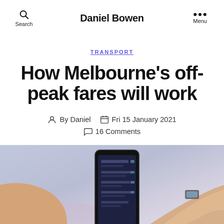Daniel Bowen
TRANSPORT
How Melbourne's off-peak fares will work
By Daniel  Fri 15 January 2021  16 Comments
[Figure (photo): Hands holding a smartphone showing a transit app, with a light purple/grey background]